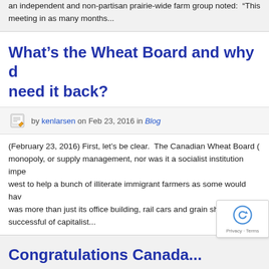an independent and non-partisan prairie-wide farm group noted: “This meeting in as many months...
What’s the Wheat Board and why do we need it back?
by kenlarsen on Feb 23, 2016 in Blog
(February 23, 2016) First, let’s be clear. The Canadian Wheat Board (... monopoly, or supply management, nor was it a socialist institution imposed on the west to help a bunch of illiterate immigrant farmers as some would have... was more than just its office building, rail cars and grain ships. The CW... successful of capitalist...
Congratulations Canada...